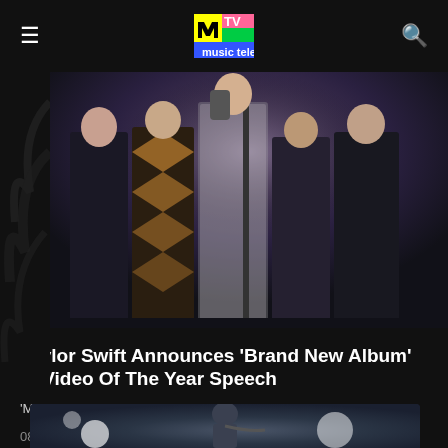MTV
[Figure (photo): Group of people on stage at an awards show, Taylor Swift and others holding awards, one in a sparkling outfit holding a trophy at a microphone]
Taylor Swift Announces 'Brand New Album' In Video Of The Year Speech
'Midnights' is out October 21
08/29/2022
[Figure (photo): Performer singing on stage with microphone, stage lighting with bright spotlights in background]